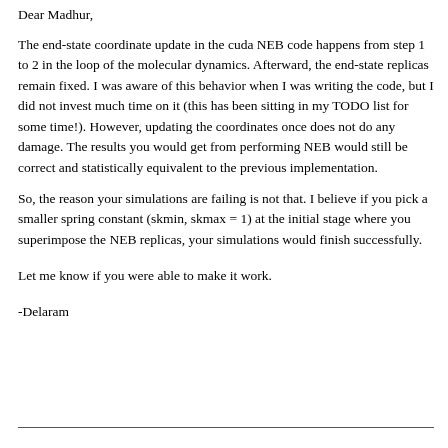Dear Madhur,
The end-state coordinate update in the cuda NEB code happens from step 1 to 2 in the loop of the molecular dynamics. Afterward, the end-state replicas remain fixed. I was aware of this behavior when I was writing the code, but I did not invest much time on it (this has been sitting in my TODO list for some time!). However, updating the coordinates once does not do any damage. The results you would get from performing NEB would still be correct and statistically equivalent to the previous implementation.
So, the reason your simulations are failing is not that. I believe if you pick a smaller spring constant (skmin, skmax = 1) at the initial stage where you superimpose the NEB replicas, your simulations would finish successfully.
Let me know if you were able to make it work.
-Delaram